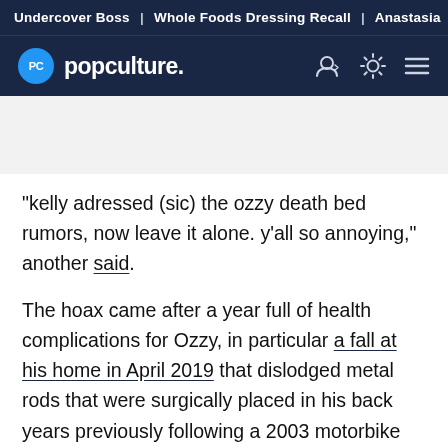Undercover Boss | Whole Foods Dressing Recall | Anastasia
[Figure (logo): PopCulture.com logo with navigation icons on dark navy background]
"kelly adressed (sic) the ozzy death bed rumors, now leave it alone. y'all so annoying," another said.
The hoax came after a year full of health complications for Ozzy, in particular a fall at his home in April 2019 that dislodged metal rods that were surgically placed in his back years previously following a 2003 motorbike accident.